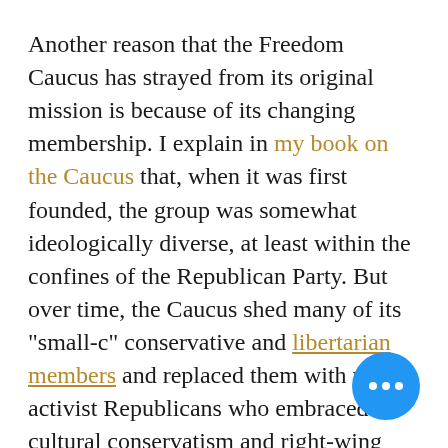Another reason that the Freedom Caucus has strayed from its original mission is because of its changing membership. I explain in my book on the Caucus that, when it was first founded, the group was somewhat ideologically diverse, at least within the confines of the Republican Party. But over time, the Caucus shed many of its "small-c" conservative and libertarian members and replaced them with more activist Republicans who embraced cultural conservatism and right-wing populism. As the journalist Matt Fuller tweeted when the provocative Representative Louie Gohmert was accepted into the group in 2017, old enough to remember when part of